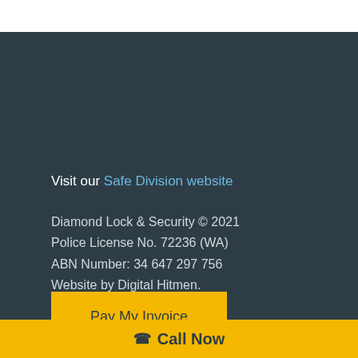Visit our Safe Division website
Diamond Lock & Security © 2021
Police License No. 72236 (WA)
ABN Number: 34 647 297 756
Website by Digital Hitmen.
Pay My Invoice
Call Now